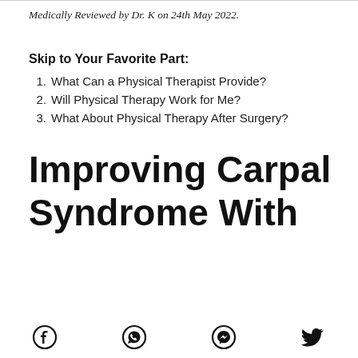Medically Reviewed by Dr. K on 24th May 2022.
Skip to Your Favorite Part:
1. What Can a Physical Therapist Provide?
2. Will Physical Therapy Work for Me?
3. What About Physical Therapy After Surgery?
Improving Carpal Tunnel Syndrome With Physical
Social share icons: Facebook, WhatsApp, Messenger, Twitter